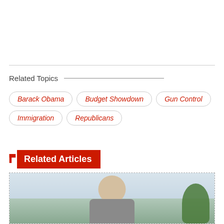Related Topics
Barack Obama
Budget Showdown
Gun Control
Immigration
Republicans
Related Articles
[Figure (photo): Outdoor photo of an elderly man with white hair, with trees and sky visible in background]